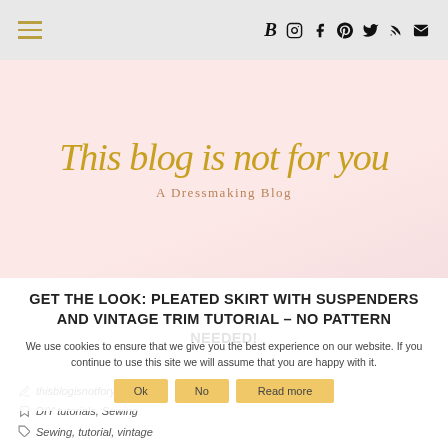Navigation bar with hamburger menu and social icons: B (Bloglovin), Instagram, Facebook, Pinterest, Twitter, RSS, Email
[Figure (logo): Blog logo with gold script text 'This blog is not for you' and subtitle 'A Dressmaking Blog' on a light pink background]
GET THE LOOK: PLEATED SKIRT WITH SUSPENDERS AND VINTAGE TRIM TUTORIAL – NO PATTERN NEEDED!
We use cookies to ensure that we give you the best experience on our website. If you continue to use this site we will assume that you are happy with it.
Ok   No   Read more
thisblogisnotforyou
DIY tutorials, Sewing
Sewing, tutorial, vintage